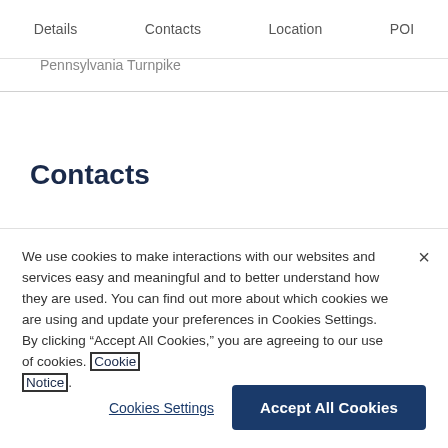Details   Contacts   Location   POI
Pennsylvania Turnpike
Contacts
We use cookies to make interactions with our websites and services easy and meaningful and to better understand how they are used. You can find out more about which cookies we are using and update your preferences in Cookies Settings. By clicking “Accept All Cookies,” you are agreeing to our use of cookies. Cookie Notice.
Cookies Settings
Accept All Cookies